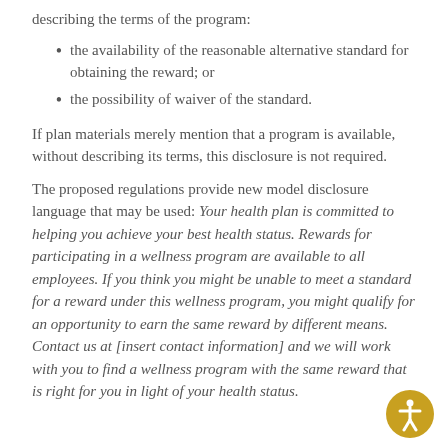describing the terms of the program:
the availability of the reasonable alternative standard for obtaining the reward; or
the possibility of waiver of the standard.
If plan materials merely mention that a program is available, without describing its terms, this disclosure is not required.
The proposed regulations provide new model disclosure language that may be used: Your health plan is committed to helping you achieve your best health status. Rewards for participating in a wellness program are available to all employees. If you think you might be unable to meet a standard for a reward under this wellness program, you might qualify for an opportunity to earn the same reward by different means. Contact us at [insert contact information] and we will work with you to find a wellness program with the same reward that is right for you in light of your health status.